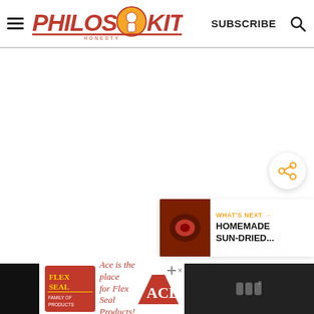Philos Kitchen — SUBSCRIBE
[Figure (screenshot): Blank white main content area of a food blog website]
[Figure (other): Share button (circular white button with orange share icon)]
[Figure (other): What's Next card showing 'HOMEMADE SUN-DRIED...' with a food thumbnail]
[Figure (other): Advertisement banner: Flex Seal and ACE Hardware - 'Ace is the place for Flex Seal Products!']